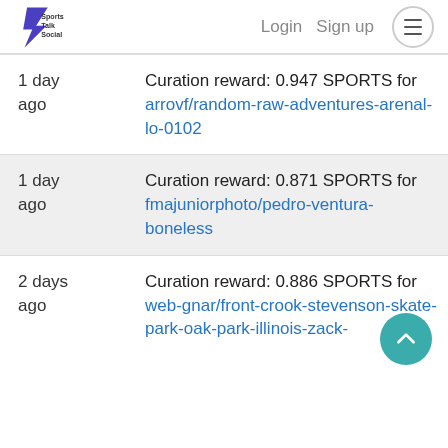Sports Talk Social | Login | Sign up
| Time | Description |
| --- | --- |
| 1 day ago | Curation reward: 0.947 SPORTS for arrovf/random-raw-adventures-arenal-lo-0102 |
| 1 day ago | Curation reward: 0.871 SPORTS for fmajuniorphoto/pedro-ventura-boneless |
| 2 days ago | Curation reward: 0.886 SPORTS for web-gnar/front-crook-stevenson-skate-park-oak-park-illinois-zack- |